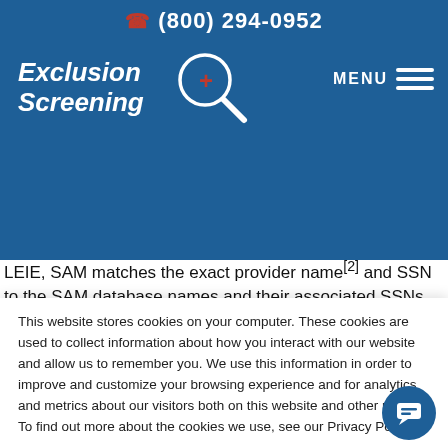(800) 294-0952
[Figure (logo): Exclusion Screening logo with magnifying glass and medical cross icon, and MENU hamburger navigation]
LEIE, SAM matches the exact provider name[2] and SSN to the SAM database names and their associated SSNs. This is a big contrast to the LEIE, since SAM does not pull up a list of every person who matched your query for you to verify individually
This website stores cookies on your computer. These cookies are used to collect information about how you interact with our website and allow us to remember you. We use this information in order to improve and customize your browsing experience and for analytics and metrics about our visitors both on this website and other media. To find out more about the cookies we use, see our Privacy Policy.
If you decline, your information won’t be tracked when you visit this website. A single cookie will be used in your browser to remember your preference not to be tracked.